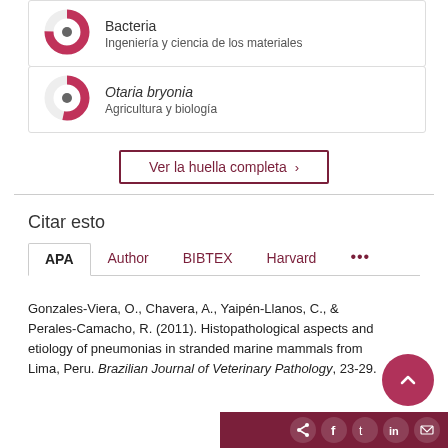[Figure (donut-chart): Partial donut chart icon for Bacteria / Ingeniería y ciencia de los materiales card]
Bacteria
Ingeniería y ciencia de los materiales
[Figure (donut-chart): Partial donut chart icon for Otaria bryonia / Agricultura y biología card]
Otaria bryonia
Agricultura y biología
Ver la huella completa ›
Citar esto
APA  Author  BIBTEX  Harvard  •••
Gonzales-Viera, O., Chavera, A., Yaipén-Llanos, C., & Perales-Camacho, R. (2011). Histopathological aspects and etiology of pneumonias in stranded marine mammals from Lima, Peru. Brazilian Journal of Veterinary Pathology, 23-29.